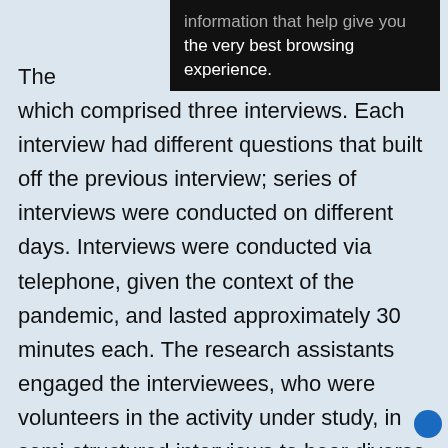[Figure (screenshot): Dark tooltip/popup overlay with white text reading 'information that help give you the very best browsing experience.' partially visible at top, overlapping the page text.]
The [truncated] process which comprised three interviews. Each interview had different questions that built off the previous interview; series of interviews were conducted on different days. Interviews were conducted via telephone, given the context of the pandemic, and lasted approximately 30 minutes each. The research assistants engaged the interviewees, who were volunteers in the activity under study, in semi-structured interviews to hear diverse perspectives on the challenges and